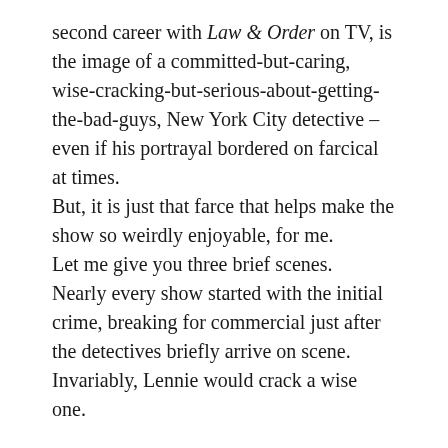second career with Law & Order on TV, is the image of a committed-but-caring, wise-cracking-but-serious-about-getting-the-bad-guys, New York City detective – even if his portrayal bordered on farcical at times.
But, it is just that farce that helps make the show so weirdly enjoyable, for me.
Let me give you three brief scenes.
Nearly every show started with the initial crime, breaking for commercial just after the detectives briefly arrive on scene.  Invariably, Lennie would crack a wise one.